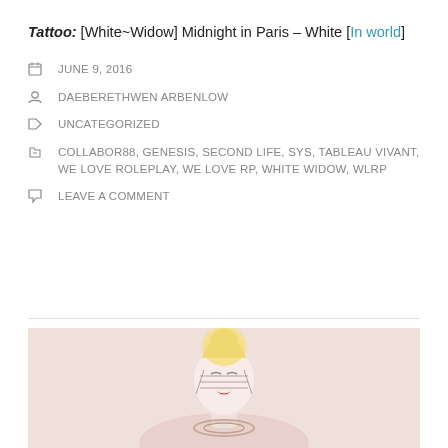Tattoo: [White~Widow] Midnight in Paris – White [In world]
JUNE 9, 2016
DAEBERETHWEN ARBENLOW
UNCATEGORIZED
COLLABOR88, GENESIS, SECOND LIFE, SYS, TABLEAU VIVANT, WE LOVE ROLEPLAY, WE LOVE RP, WHITE WIDOW, WLRP
LEAVE A COMMENT
[Figure (photo): A pale feminine avatar figure with blonde upswept hair, closed eyes, red lips, wearing metallic cage-like face adornment and a decorative neckpiece, photographed against a light pink background.]